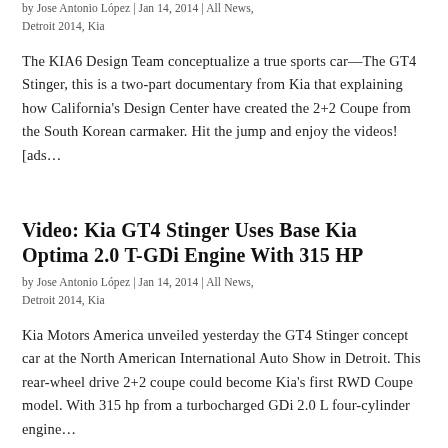by Jose Antonio López | Jan 14, 2014 | All News, Detroit 2014, Kia
The KIA6 Design Team conceptualize a true sports car—The GT4 Stinger, this is a two-part documentary from Kia that explaining how California's Design Center have created the 2+2 Coupe from the South Korean carmaker. Hit the jump and enjoy the videos! [ads...
Video: Kia GT4 Stinger Uses Base Kia Optima 2.0 T-GDi Engine With 315 HP
by Jose Antonio López | Jan 14, 2014 | All News, Detroit 2014, Kia
Kia Motors America unveiled yesterday the GT4 Stinger concept car at the North American International Auto Show in Detroit. This rear-wheel drive 2+2 coupe could become Kia's first RWD Coupe model. With 315 hp from a turbocharged GDi 2.0 L four-cylinder engine...